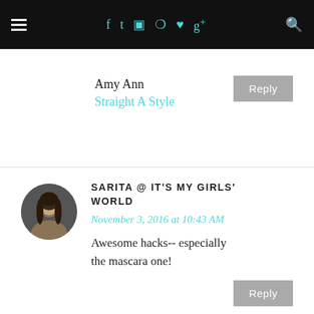Navigation bar with hamburger menu, social icons (Facebook, Twitter, Instagram, Pinterest, Heart, Google+), and search icon
Amy Ann
Straight A Style
Reply
SARITA @ IT'S MY GIRLS' WORLD
November 3, 2016 at 10:43 AM
Awesome hacks-- especially the mascara one!
Reply